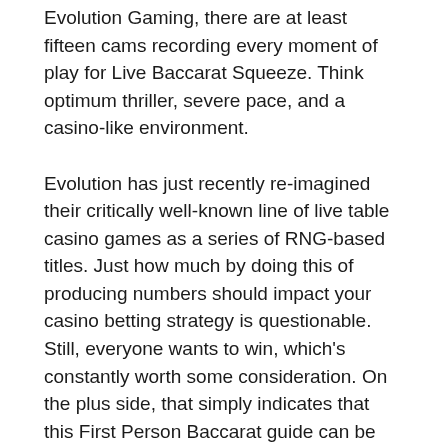Evolution Gaming, there are at least fifteen cams recording every moment of play for Live Baccarat Squeeze. Think optimum thriller, severe pace, and a casino-like environment.
Evolution has just recently re-imagined their critically well-known line of live table casino games as a series of RNG-based titles. Just how much by doing this of producing numbers should impact your casino betting strategy is questionable. Still, everyone wants to win, which's constantly worth some consideration. On the plus side, that simply indicates that this First Person Baccarat guide can be utilized for forms of this classic casino game. However, we'll be using Evolution's most current version for reference, so be sure to check it out.
Baccarat is a card game, and it is among the most popular table games internationally. It's played between two hands– the 'banker' and the 'player'– with three possible results: